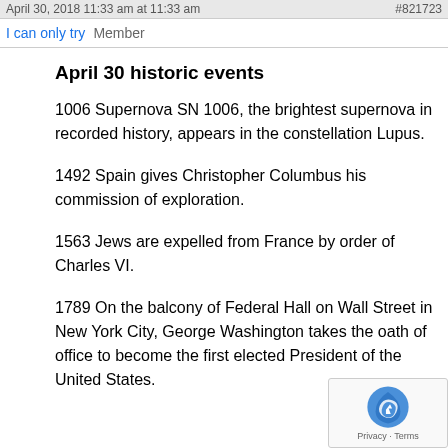April 30, 2018 11:33 am at 11:33 am  #821723
I can only try   Member
April 30 historic events
1006 Supernova SN 1006, the brightest supernova in recorded history, appears in the constellation Lupus.
1492 Spain gives Christopher Columbus his commission of exploration.
1563 Jews are expelled from France by order of Charles VI.
1789 On the balcony of Federal Hall on Wall Street in New York City, George Washington takes the oath of office to become the first elected President of the United States.